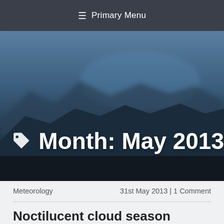≡ Primary Menu
[Figure (photo): Hero banner with blurred mountainous landscape background in dark blue tones]
Month: May 2013
Meteorology
31st May 2013 | 1 Comment
Noctilucent cloud season...